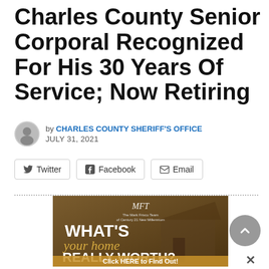Charles County Senior Corporal Recognized For His 30 Years Of Service; Now Retiring
by CHARLES COUNTY SHERIFF'S OFFICE
JULY 31, 2021
[Figure (infographic): Social share buttons: Twitter, Facebook, Email]
[Figure (infographic): Advertisement for The Mark Frisco Team of Century 21 New Millennium. Text: WHAT'S your home REALLY WORTH? Click HERE to Find Out!]